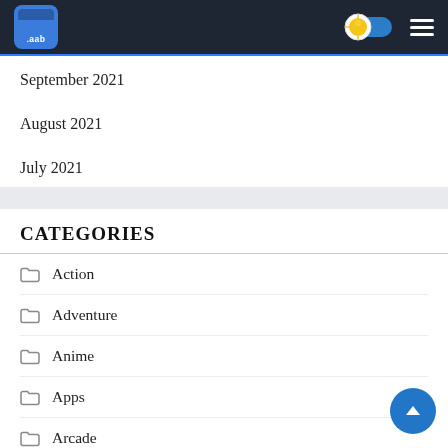.aab [logo header with toggle and menu]
September 2021
August 2021
July 2021
CATEGORIES
Action
Adventure
Anime
Apps
Arcade